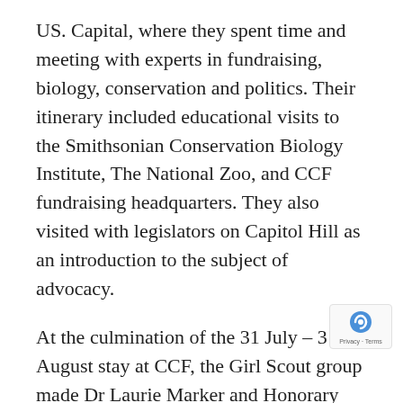US. Capital, where they spent time and meeting with experts in fundraising, biology, conservation and politics. Their itinerary included educational visits to the Smithsonian Conservation Biology Institute, The National Zoo, and CCF fundraising headquarters. They also visited with legislators on Capitol Hill as an introduction to the subject of advocacy.
At the culmination of the 31 July – 3 August stay at CCF, the Girl Scout group made Dr Laurie Marker and Honorary Lifetime Member of the Girls Scouts, presenting her with a pin to denote this status.
“It has been a true pleasure to work with this group